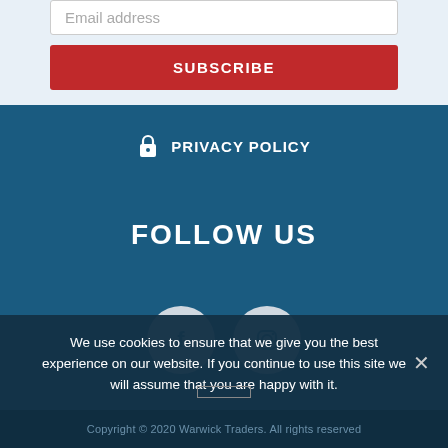Email address
SUBSCRIBE
PRIVACY POLICY
FOLLOW US
[Figure (illustration): Facebook and Instagram social media icons as circular buttons]
We use cookies to ensure that we give you the best experience on our website. If you continue to use this site we will assume that you are happy with it.
Copyright © 2020 Warwick Traders. All rights reserved